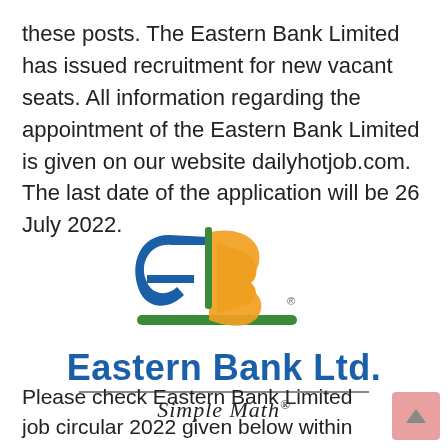these posts. The Eastern Bank Limited has issued recruitment for new vacant seats. All information regarding the appointment of the Eastern Bank Limited is given on our website dailyhotjob.com. The last date of the application will be 26 July 2022.
[Figure (logo): Eastern Bank Ltd. logo featuring stylized 'EB' letters in blue and orange with a green swoosh underline, the text 'Eastern Bank Ltd.' in bold blue beneath, underlined, and the tagline 'Simple Math®' in italic script below.]
Please check Eastern Bank Limited job circular 2022 given below within the image file. They